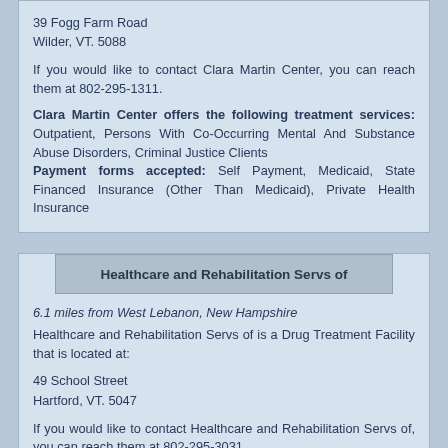39 Fogg Farm Road
Wilder, VT. 5088
If you would like to contact Clara Martin Center, you can reach them at 802-295-1311.
Clara Martin Center offers the following treatment services: Outpatient, Persons With Co-Occurring Mental And Substance Abuse Disorders, Criminal Justice Clients
Payment forms accepted: Self Payment, Medicaid, State Financed Insurance (Other Than Medicaid), Private Health Insurance
Healthcare and Rehabilitation Servs of
6.1 miles from West Lebanon, New Hampshire
Healthcare and Rehabilitation Servs of is a Drug Treatment Facility that is located at:
49 School Street
Hartford, VT. 5047
If you would like to contact Healthcare and Rehabilitation Servs of, you can reach them at 802-295-3031.
Healthcare and Rehabilitation Servs of offers the following treatment services: Substance Abuse Treatment